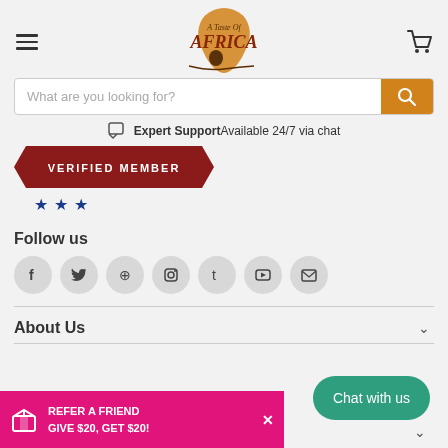[Figure (logo): A Taste Of Africa logo with African continent shape and chef silhouette]
What are you looking for?
Expert Support Available 24/7 via chat
[Figure (other): VERIFIED MEMBER badge with 3 blue stars]
Follow us
[Figure (other): Social media icons: Facebook, Twitter, Pinterest, Instagram, Tumblr, YouTube, Email]
About Us
REFER A FRIEND GIVE $20, GET $20!
Chat with us